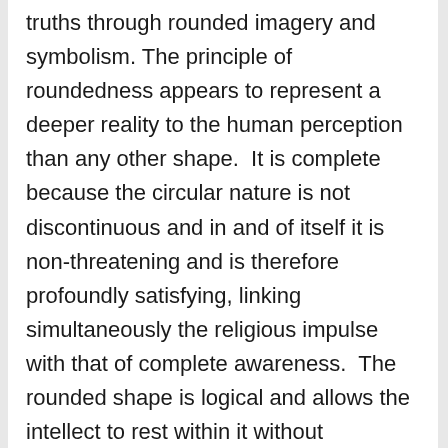truths through rounded imagery and symbolism. The principle of roundedness appears to represent a deeper reality to the human perception than any other shape. It is complete because the circular nature is not discontinuous and in and of itself it is non-threatening and is therefore profoundly satisfying, linking simultaneously the religious impulse with that of complete awareness. The rounded shape is logical and allows the intellect to rest within it without distraction. The phenomenon of the ‘Unidentified Flying Object’ (UFO) is primarily a visual event. The other senses, although not entirely dormant in the experience of a UFO event, remain, nevertheless, secondary in nature to the visual stimulation. A UFO is seen first and